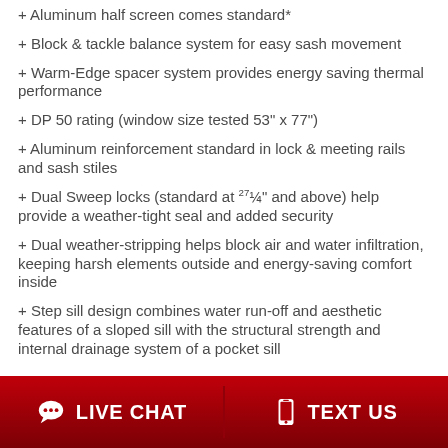+ Aluminum half screen comes standard*
+ Block & tackle balance system for easy sash movement
+ Warm-Edge spacer system provides energy saving thermal performance
+ DP 50 rating (window size tested 53" x 77")
+ Aluminum reinforcement standard in lock & meeting rails and sash stiles
+ Dual Sweep locks (standard at 27¼" and above) help provide a weather-tight seal and added security
+ Dual weather-stripping helps block air and water infiltration, keeping harsh elements outside and energy-saving comfort inside
+ Step sill design combines water run-off and aesthetic features of a sloped sill with the structural strength and internal drainage system of a pocket sill
LIVE CHAT   TEXT US